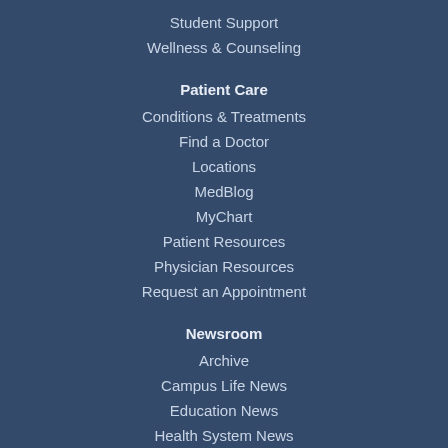Student Support
Wellness & Counseling
Patient Care
Conditions & Treatments
Find a Doctor
Locations
MedBlog
MyChart
Patient Resources
Physician Resources
Request an Appointment
Newsroom
Archive
Campus Life News
Education News
Health System News